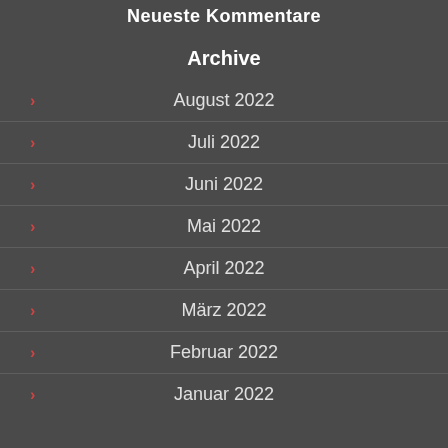Neueste Kommentare
Archive
August 2022
Juli 2022
Juni 2022
Mai 2022
April 2022
März 2022
Februar 2022
Januar 2022